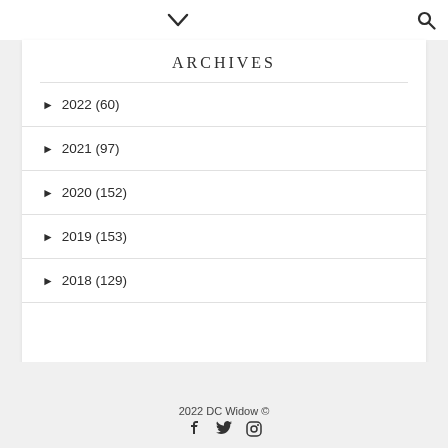▼ 🔍
ARCHIVES
► 2022 (60)
► 2021 (97)
► 2020 (152)
► 2019 (153)
► 2018 (129)
2022 DC Widow ©